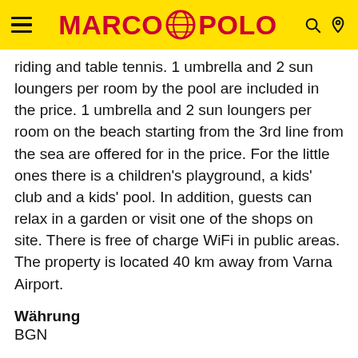MARCO POLO
riding and table tennis. 1 umbrella and 2 sun loungers per room by the pool are included in the price. 1 umbrella and 2 sun loungers per room on the beach starting from the 3rd line from the sea are offered for in the price. For the little ones there is a children's playground, a kids' club and a kids' pool. In addition, guests can relax in a garden or visit one of the shops on site. There is free of charge WiFi in public areas. The property is located 40 km away from Varna Airport.
Währung
BGN
Sterne-Klassifikation
★★★★★
Hotelinfos und Buchung